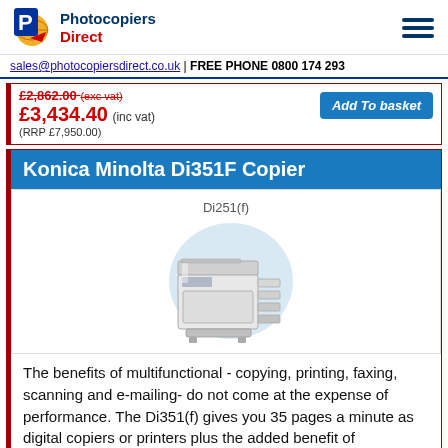Photocopiers Direct
sales@photocopiersdirect.co.uk | FREE PHONE 0800 174 293
£2,862.00 (exc vat) £3,434.40 (inc vat) (RRP £7,950.00) Add To basket
Konica Minolta Di351F Copier
[Figure (photo): Konica Minolta Di251(f) photocopier machine image with globe graphic background]
The benefits of multifunctional - copying, printing, faxing, scanning and e-mailing- do not come at the expense of performance. The Di351(f) gives you 35 pages a minute as digital copiers or printers plus the added benefit of functioning as fast workgroup faxes